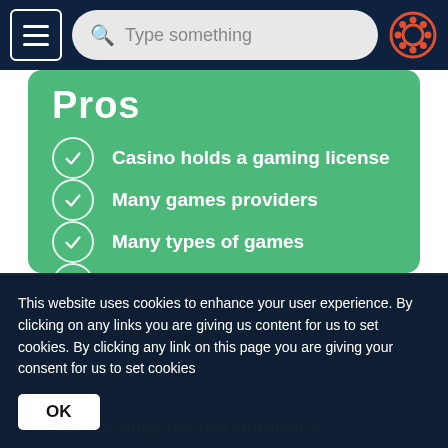Navigation bar with menu, search, and settings
Pros
Casino holds a gaming license
Many games providers
Many types of games
Bitcoins are accepted
Cons
Casino supports few currencies
This website uses cookies to enhance your user experience. By clicking on any links you are giving us content for us to set cookies. By clicking any link on this page you are giving your consent for us to set cookies